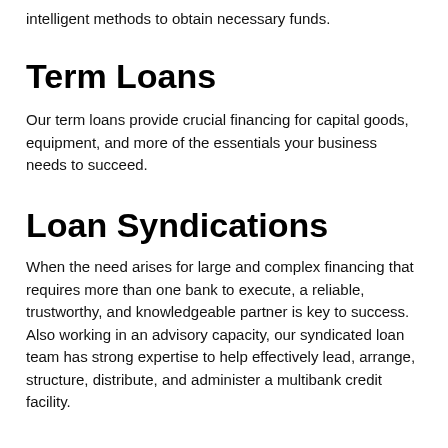intelligent methods to obtain necessary funds.
Term Loans
Our term loans provide crucial financing for capital goods, equipment, and more of the essentials your business needs to succeed.
Loan Syndications
When the need arises for large and complex financing that requires more than one bank to execute, a reliable, trustworthy, and knowledgeable partner is key to success. Also working in an advisory capacity, our syndicated loan team has strong expertise to help effectively lead, arrange, structure, distribute, and administer a multibank credit facility.